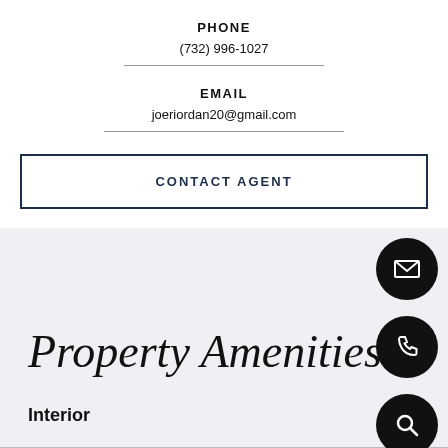PHONE
(732) 996-1027
EMAIL
joeriordan20@gmail.com
CONTACT AGENT
Property Amenities
Interior